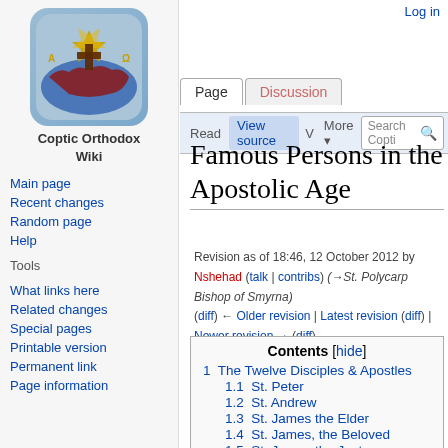[Figure (logo): Coptic Orthodox Wiki logo: rounded square icon with gold star of david, cross, and US map motif on blue/brown background]
Coptic Orthodox Wiki
Main page
Recent changes
Random page
Help
Tools
What links here
Related changes
Special pages
Printable version
Permanent link
Page information
Log in
Famous Persons in the Apostolic Age
Revision as of 18:46, 12 October 2012 by Nshehad (talk | contribs) (→St. Polycarp Bishop of Smyrna)
(diff) ← Older revision | Latest revision (diff) | Newer revision → (diff)
Contents [hide]
1 The Twelve Disciples & Apostles
1.1 St. Peter
1.2 St. Andrew
1.3 St. James the Elder
1.4 St. James, the Beloved
1.5 St. James the Just
1.6 St. Philip